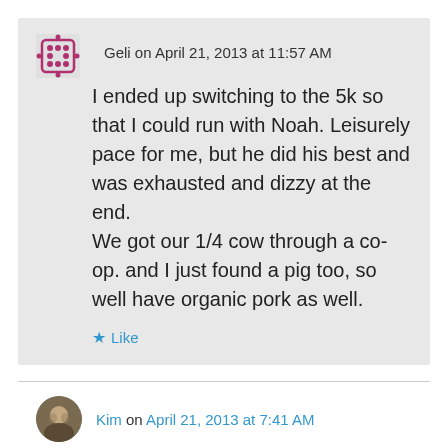Geli on April 21, 2013 at 11:57 AM
I ended up switching to the 5k so that I could run with Noah. Leisurely pace for me, but he did his best and was exhausted and dizzy at the end.
We got our 1/4 cow through a co-op. and I just found a pig too, so well have organic pork as well.
Like
Kim on April 21, 2013 at 7:41 AM
What a great way to end a 20-mile run, or any